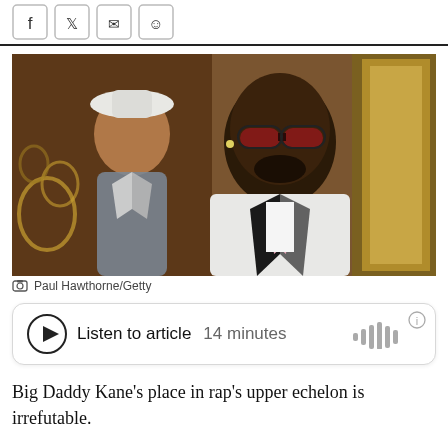[Figure (photo): Social sharing icons bar with Facebook, Twitter, email, and smiley/share icons in outlined square buttons]
[Figure (photo): A man wearing red-tinted sunglasses and a white suit with black lapels and pink tie stands in front of a painted portrait of a man in a white hat and gray suit, with an ornate gold frame and decorative background visible]
Paul Hawthorne/Getty
[Figure (other): Listen to article player widget: play button icon, text 'Listen to article 14 minutes', audio waveform bars, and info icon]
Big Daddy Kane's place in rap's upper echelon is irrefutable.